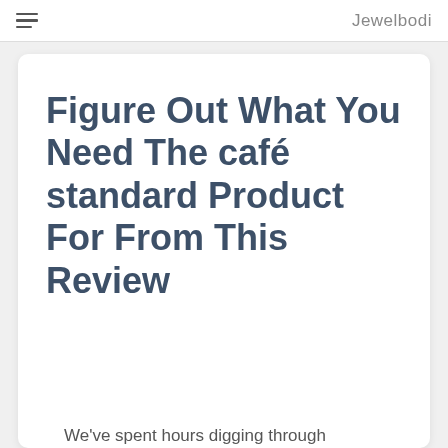Jewelbodi
Figure Out What You Need The café standard Product For From This Review
We've spent hours digging through the product to find all of the best...